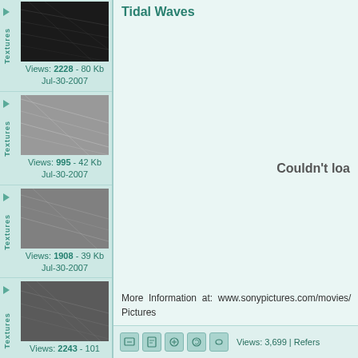[Figure (screenshot): Left sidebar with texture thumbnails and metadata]
Tidal Waves
Couldn't loa
More Information at: www.sonypictures.com/movies/ Pictures
Views: 3,699 | Refers